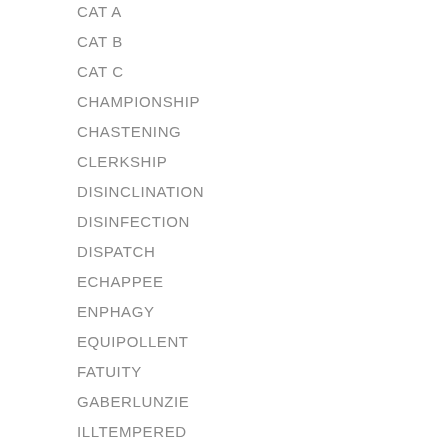CAT A
CAT B
CAT C
CHAMPIONSHIP
CHASTENING
CLERKSHIP
DISINCLINATION
DISINFECTION
DISPATCH
ECHAPPEE
ENPHAGY
EQUIPOLLENT
FATUITY
GABERLUNZIE
ILLTEMPERED